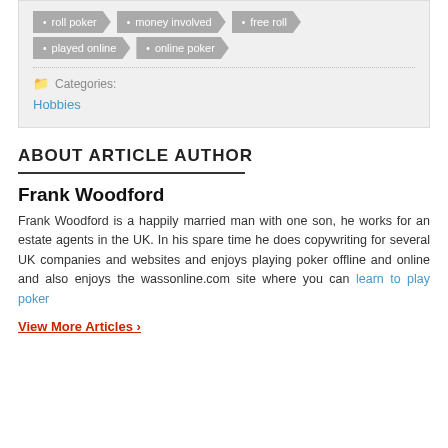roll poker
money involved
free roll
played online
online poker
Categories:
Hobbies
ABOUT ARTICLE AUTHOR
Frank Woodford
Frank Woodford is a happily married man with one son, he works for an estate agents in the UK. In his spare time he does copywriting for several UK companies and websites and enjoys playing poker offline and online and also enjoys the wassonline.com site where you can learn to play poker
View More Articles ›